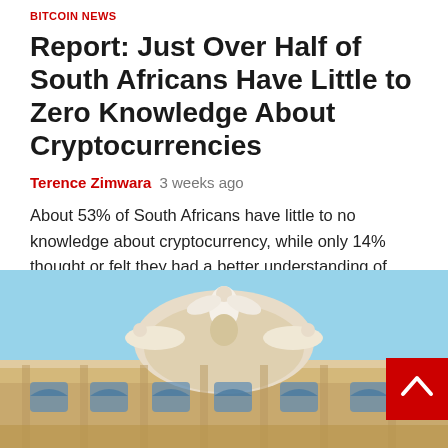BITCOIN NEWS
Report: Just Over Half of South Africans Have Little to Zero Knowledge About Cryptocurrencies
Terence Zimwara  3 weeks ago
About 53% of South Africans have little to no knowledge about cryptocurrency, while only 14% thought or felt they had a better understanding of...
Read More
[Figure (photo): Photograph of a neoclassical building facade with ornate sculptures on the roofline including reclining figures and a central decorative element, against a blue sky. The building has warm beige stone walls with arched windows.]